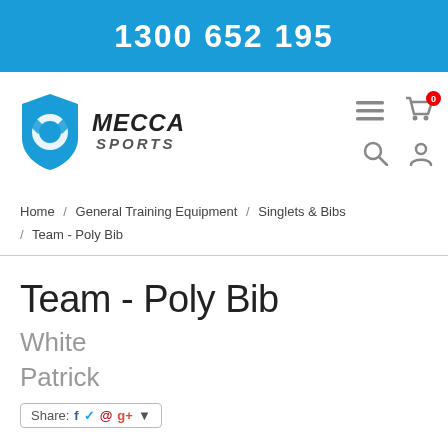1300 652 195
[Figure (logo): Mecca Sports logo with blue shield icon and bold italic MECCA SPORTS text]
Home / General Training Equipment / Singlets & Bibs / Team - Poly Bib
Team - Poly Bib
White
Patrick
Share: f ✓ @ g+ ▼